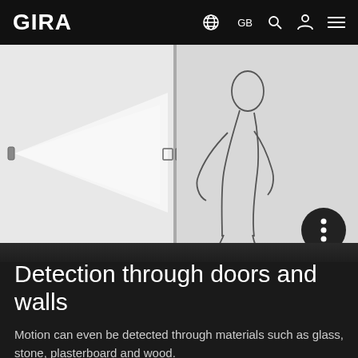GIRA  GB
[Figure (illustration): Diagram showing motion detection through a wall/door. Left side shows a sensor emitting a triangular detection beam. A vertical dividing line (wall/door) separates left and right panels. Right side shows an outline silhouette of a person walking, detected through the wall. A three-dot menu button appears bottom right.]
Detection through doors and walls
Motion can even be detected through materials such as glass, stone, plasterboard and wood.